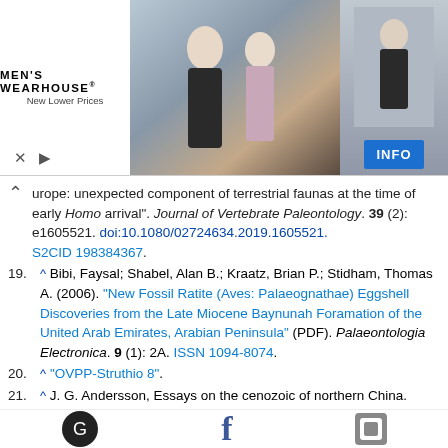[Figure (photo): Men's Wearhouse advertisement banner featuring a couple in formal wear and a man in a suit, with brand logo and INFO button]
urope: unexpected component of terrestrial faunas at the time of early Homo arrival". Journal of Vertebrate Paleontology. 39 (2): e1605521. doi:10.1080/02724634.2019.1605521. S2CID 198384367.
19. ^ Bibi, Faysal; Shabel, Alan B.; Kraatz, Brian P.; Stidham, Thomas A. (2006). "New Fossil Ratite (Aves: Palaeognathae) Eggshell Discoveries from the Late Miocene Baynunah Foramation of the United Arab Emirates, Arabian Peninsula" (PDF). Palaeontologia Electronica. 9 (1): 2A. ISSN 1094-8074.
20. ^ "OVPP-Struthio 8".
21. ^ J. G. Andersson, Essays on the cenozoic of northern China. Memoirs of the Geological Survey of China (Peking), Series A, No. 3 (1923), pp. 1–152, especially pp. 53–77: "On the occurrence of fossil remains of Struthionidae in China."; and J. G. Andersson, Research into the prehistory of the Chinese. Bulletin of the Museum of Far Eastern Antiquities 15 (1943), 1–300, plus 200 plates.